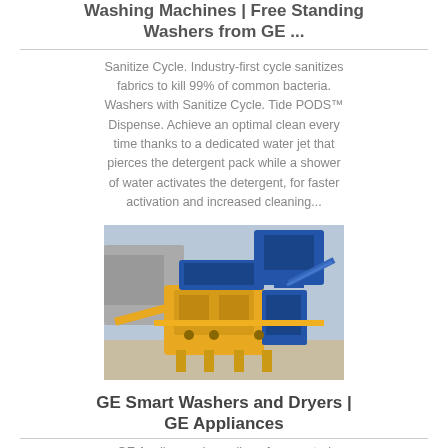Washing Machines | Free Standing Washers from GE ...
Sanitize Cycle. Industry-first cycle sanitizes fabrics to kill 99% of common bacteria. Washers with Sanitize Cycle. Tide PODS™ Dispense. Achieve an optimal clean every time thanks to a dedicated water jet that pierces the detergent pack while a shower of water activates the detergent, for faster activation and increased cleaning...
[Figure (photo): Industrial yellow and blue washing/processing machine equipment outdoors at a construction or mining site]
GE Smart Washers and Dryers | GE Appliances
GE Appliances has a line of connected